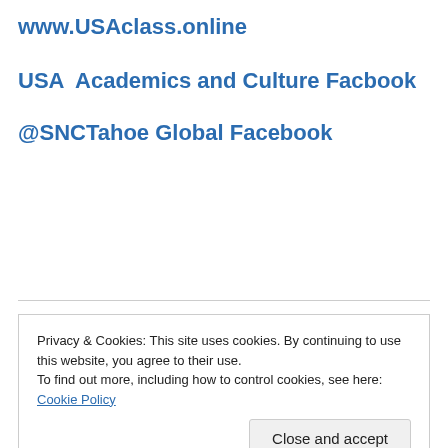www.USAclass.online
USA  Academics and Culture Facbook
@SNCTahoe Global Facebook
Privacy & Cookies: This site uses cookies. By continuing to use this website, you agree to their use.
To find out more, including how to control cookies, see here: Cookie Policy